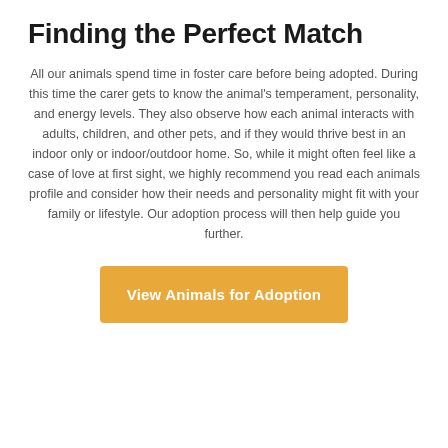Finding the Perfect Match
All our animals spend time in foster care before being adopted. During this time the carer gets to know the animal's temperament, personality, and energy levels. They also observe how each animal interacts with adults, children, and other pets, and if they would thrive best in an indoor only or indoor/outdoor home. So, while it might often feel like a case of love at first sight, we highly recommend you read each animals profile and consider how their needs and personality might fit with your family or lifestyle. Our adoption process will then help guide you further.
[Figure (other): A golden/amber colored button labeled 'View Animals for Adoption']